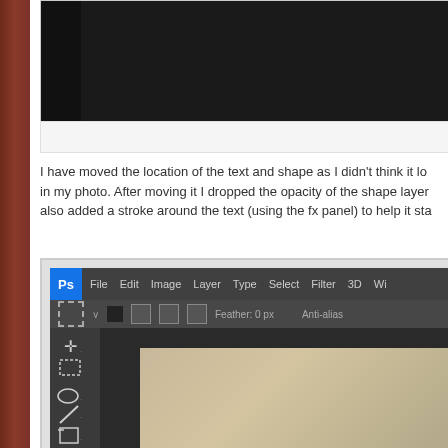[Figure (screenshot): Photoshop screenshot with black background, partially visible at top of page]
[Figure (screenshot): White/light gray bar below the top screenshot]
I have moved the location of the text and shape as I didn't think it lo in my photo. After moving it I dropped the opacity of the shape layer also added a stroke around the text (using the fx panel) to help it sta
[Figure (screenshot): Photoshop application window showing menu bar with File, Edit, Image, Layer, Type, Select, Filter, 3D, Wi... menus, toolbar with selection tools, left tool panel with move, marquee, lasso, brush, crop, and other tools, and a canvas showing a photo with beige/tan tones]